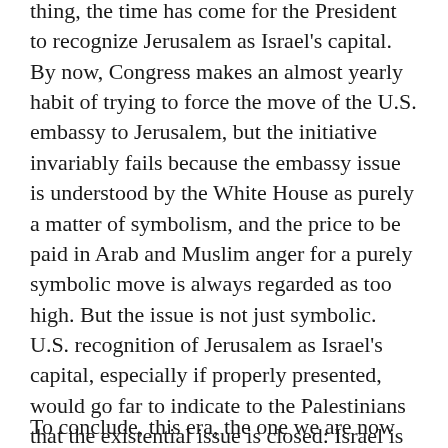thing, the time has come for the President to recognize Jerusalem as Israel's capital. By now, Congress makes an almost yearly habit of trying to force the move of the U.S. embassy to Jerusalem, but the initiative invariably fails because the embassy issue is understood by the White House as purely a matter of symbolism, and the price to be paid in Arab and Muslim anger for a purely symbolic move is always regarded as too high. But the issue is not just symbolic. U.S. recognition of Jerusalem as Israel's capital, especially if properly presented, would go far to indicate to the Palestinians that the existential issue is closed: Israel is there, it is permanent, and the sooner they come to terms with this fact, the better.
To conclude, this era, the one we are now in, would